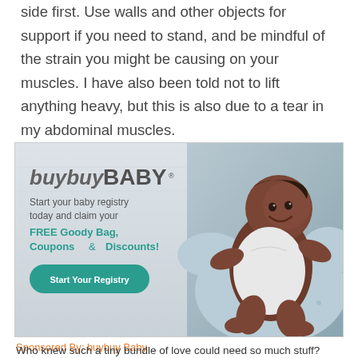side first. Use walls and other objects for support if you need to stand, and be mindful of the strain you might be causing on your muscles. I have also been told not to lift anything heavy, but this is also due to a tear in my abdominal muscles.
[Figure (illustration): buybuyBABY advertisement showing a smiling baby lying on a nursing pillow with elephant print. Text reads: 'Start your baby registry today and claim your FREE Goody Bag, Coupons & Discounts!' with a 'Start Your Registry' button.]
Sponsored By: buybuy Baby
Who knew such a tiny bundle of love could need so much stuff? Don't worry! We've got you covered. From expert advice